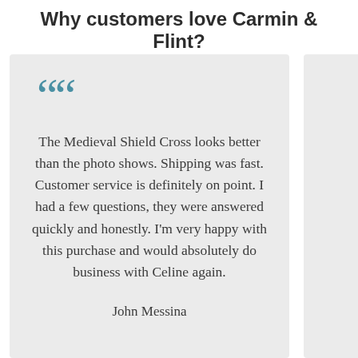Why customers love Carmin & Flint?
The Medieval Shield Cross looks better than the photo shows. Shipping was fast. Customer service is definitely on point. I had a few questions, they were answered quickly and honestly. I'm very happy with this purchase and would absolutely do business with Celine again.
John Messina
This is th... bought. A... and lov... bought th... her. It is e... and beau... other I b...
Fran... To...